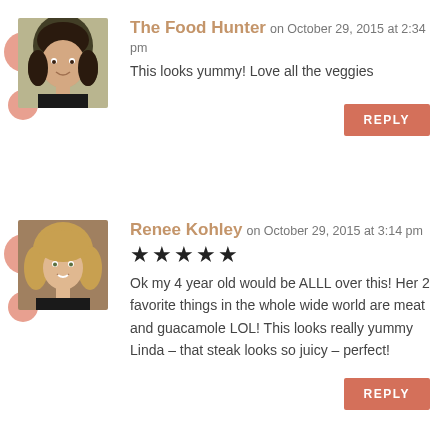[Figure (photo): Avatar photo of The Food Hunter commenter, a woman with dark hair smiling]
The Food Hunter on October 29, 2015 at 2:34 pm
This looks yummy! Love all the veggies
REPLY
[Figure (photo): Avatar photo of Renee Kohley commenter, a woman with curly blonde hair smiling]
Renee Kohley on October 29, 2015 at 3:14 pm
★★★★★
Ok my 4 year old would be ALLL over this! Her 2 favorite things in the whole wide world are meat and guacamole LOL! This looks really yummy Linda – that steak looks so juicy – perfect!
REPLY